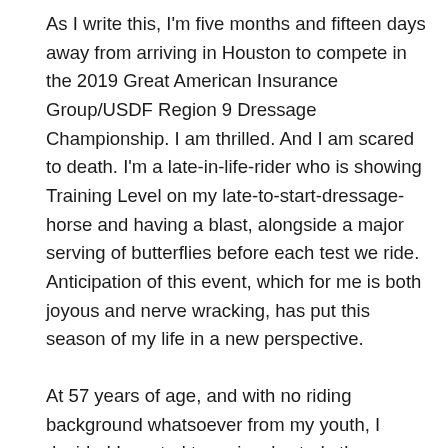As I write this, I'm five months and fifteen days away from arriving in Houston to compete in the 2019 Great American Insurance Group/USDF Region 9 Dressage Championship. I am thrilled. And I am scared to death. I'm a late-in-life-rider who is showing Training Level on my late-to-start-dressage-horse and having a blast, alongside a major serving of butterflies before each test we ride. Anticipation of this event, which for me is both joyous and nerve wracking, has put this season of my life in a new perspective.
At 57 years of age, and with no riding background whatsoever from my youth, I decided I wanted to seriously study the Pyramid of Training and ride local schooling shows. Although I did not have the opportunity to learn to ride as a child, and adulthood left no time for horses until I neared retirement, my lifelong love of horses raged on relentlessly. I decided to jump in the deep end and learn dressage after I